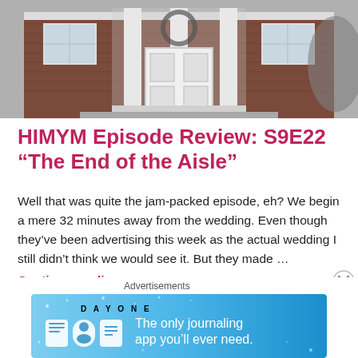[Figure (photo): Black and white photo of a brick building with white columns and a white door, resembling a colonial-style house or fraternity building.]
HIMYM Episode Review: S9E22 “The End of the Aisle”
Well that was quite the jam-packed episode, eh? We begin a mere 32 minutes away from the wedding. Even though they’ve been advertising this week as the actual wedding I still didn’t think we would see it. But they made …
Continue reading
Advertisements
[Figure (illustration): Day One journaling app advertisement banner. Light blue background with 'DAY ONE' text, app icons, and tagline 'The only journaling app you'll ever need.']